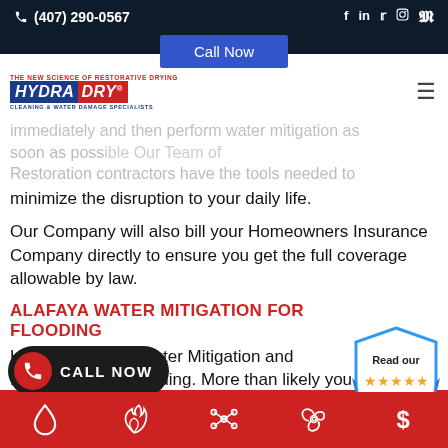(407) 290-0567  Call Now
[Figure (logo): Hydra Dry Cleaning & Water Damage Specialists logo with tagline 'The New Science of Restorative Drying']
immediately and then perform water mitigation as soon as possible Our Team of Restoration Contractors have the tools needed to minimize the disruption to your daily life.
Our Company will also bill your Homeowners Insurance Company directly to ensure you get the full coverage allowable by law.
ALAFAYA WATER MITIGATION FOR FLOODING
Hydra Dry offers Water Mitigation and Restoration for Flooding. More than likely you will
[Figure (infographic): Call Now floating button with phone icon]
[Figure (infographic): Read our Reviews badge with 5 gold stars]
[Figure (infographic): Bottom red bar with service icons: water drop, fire, network/mold, biohazard, dollar sign]